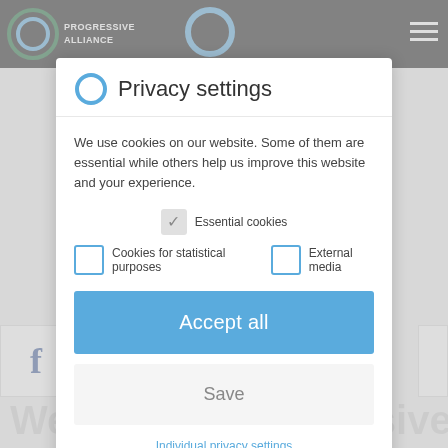[Figure (screenshot): Progressive Alliance website header with dark navigation bar, logo circle, and hamburger menu icon]
Privacy settings
We use cookies on our website. Some of them are essential while others help us improve this website and your experience.
Essential cookies (checked)
Cookies for statistical purposes (unchecked)
External media (unchecked)
Accept all
Save
Individual privacy settings
Cookie details | Privacy Policy | Legal Notice
We are the Progressive Alliance